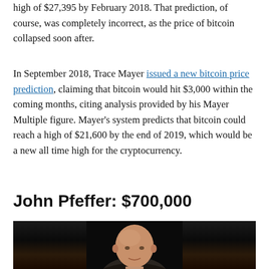high of $27,395 by February 2018. That prediction, of course, was completely incorrect, as the price of bitcoin collapsed soon after.
In September 2018, Trace Mayer issued a new bitcoin price prediction, claiming that bitcoin would hit $3,000 within the coming months, citing analysis provided by his Mayer Multiple figure. Mayer's system predicts that bitcoin could reach a high of $21,600 by the end of 2019, which would be a new all time high for the cryptocurrency.
John Pfeffer: $700,000
[Figure (photo): A bald man photographed against a dark background, appears to be a professional headshot or event photo.]